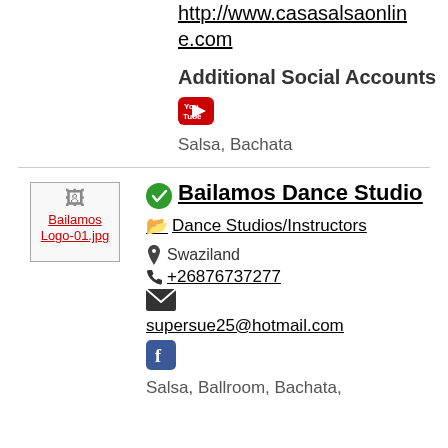http://www.casasalsaonline.com
Additional Social Accounts
[Figure (logo): YouTube icon - red rounded rectangle with play button]
Salsa, Bachata
[Figure (photo): Broken image placeholder: Bailamos Logo-01.jpg]
Bailamos Dance Studio
Dance Studios/Instructors
Swaziland
+26876737277
supersue25@hotmail.com
[Figure (logo): Facebook icon - blue rounded square with 'f']
Salsa, Ballroom, Bachata,